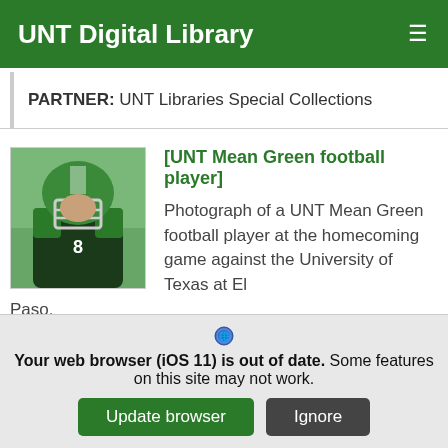UNT Digital Library
PARTNER: UNT Libraries Special Collections
[Figure (photo): UNT Mean Green football player in green helmet and uniform]
[UNT Mean Green football player]
Photograph of a UNT Mean Green football player at the homecoming game against the University of Texas at El Paso.
DATE: November 9, 2013
CREATOR: Clark, Junebug
Your web browser (iOS 11) is out of date. Some features on this site may not work.